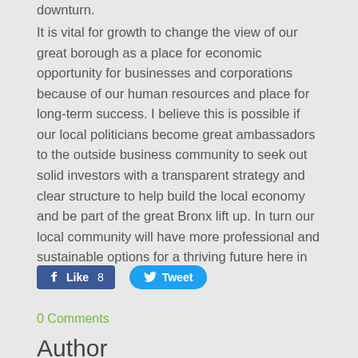downturn.
It is vital for growth to change the view of our great borough as a place for economic opportunity for businesses and corporations because of our human resources and place for long-term success. I believe this is possible if our local politicians become great ambassadors to the outside business community to seek out solid investors with a transparent strategy and clear structure to help build the local economy and be part of the great Bronx lift up. In turn our local community will have more professional and sustainable options for a thriving future here in The Bronx.
[Figure (screenshot): Facebook Like button showing 8 likes and Twitter Tweet button]
0 Comments
Author
Alexandra Maruri
Bronx Historical Tours ©